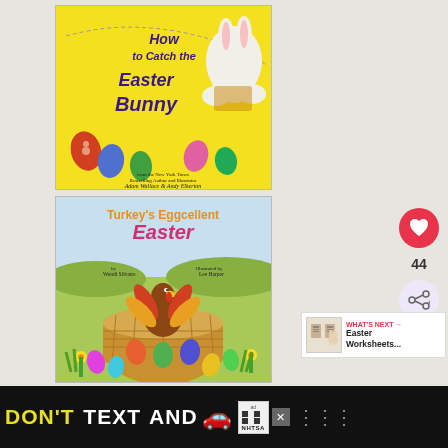[Figure (photo): Book cover: 'How to Catch the Easter Bunny' by Adam Wallace & Andy Elkerton. Yellow background with purple text, colorful Easter eggs, and a rabbit illustration.]
[Figure (photo): Book cover: 'Turkey's Eggcellent Easter' by Wendi Silvano, illustrated by Lee Harper. Features a turkey in an Easter basket with colorful eggs and flowers.]
[Figure (infographic): Social interaction sidebar with heart/like button showing 44 likes and a share button.]
[Figure (screenshot): What's Next panel showing Easter Worksheets thumbnail and label.]
[Figure (infographic): NHTSA advertisement banner: DON'T TEXT AND [car emoji] with ad badge and NHTSA logo on black background.]